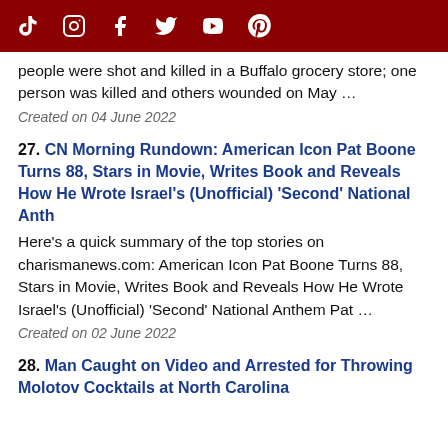[Social media icons: TikTok, Instagram, Facebook, Twitter, YouTube, Pinterest]
people were shot and killed in a Buffalo grocery store; one person was killed and others wounded on May …
Created on 04 June 2022
27. CN Morning Rundown: American Icon Pat Boone Turns 88, Stars in Movie, Writes Book and Reveals How He Wrote Israel's (Unofficial) 'Second' National Anth
Here's a quick summary of the top stories on charismanews.com: American Icon Pat Boone Turns 88, Stars in Movie, Writes Book and Reveals How He Wrote Israel's (Unofficial) 'Second' National Anthem Pat …
Created on 02 June 2022
28. Man Caught on Video and Arrested for Throwing Molotov Cocktails at North Carolina